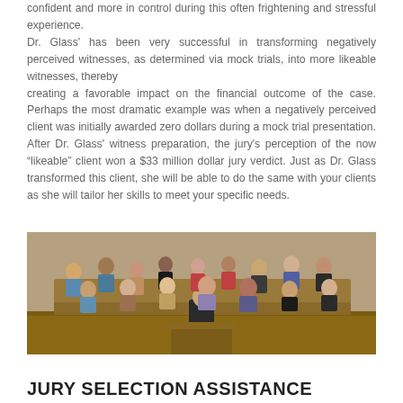confident and more in control during this often frightening and stressful experience. Dr. Glass' has been very successful in transforming negatively perceived witnesses, as determined via mock trials, into more likeable witnesses, thereby creating a favorable impact on the financial outcome of the case. Perhaps the most dramatic example was when a negatively perceived client was initially awarded zero dollars during a mock trial presentation. After Dr. Glass' witness preparation, the jury's perception of the now “likeable” client won a $33 million dollar jury verdict. Just as Dr. Glass transformed this client, she will be able to do the same with your clients as she will tailor her skills to meet your specific needs.
[Figure (photo): A courtroom scene showing a lawyer or speaker standing with back to camera, addressing a jury or group of people seated in a jury box. The room has wooden paneling and warm lighting.]
JURY SELECTION ASSISTANCE